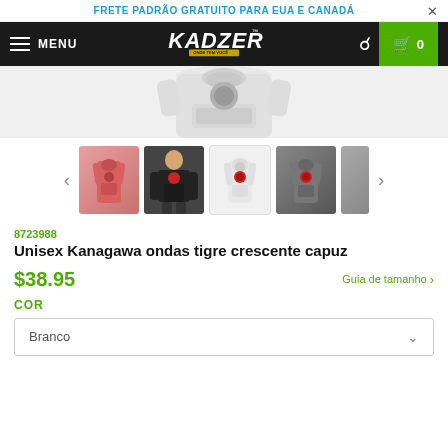FRETE PADRÃO GRATUITO PARA EUA E CANADÁ
[Figure (screenshot): Kadzers store navigation bar with hamburger menu, logo, search icon, and cart button showing 0 items]
[Figure (photo): Main product image area showing white hoodie from above]
[Figure (photo): Thumbnail carousel with 4 hoodie images: pink, person wearing black, white, gray, and partial fifth thumbnail with left/right arrows]
8723988
Unisex Kanagawa ondas tigre crescente capuz
$38.95
Guia de tamanho
COR
Branco